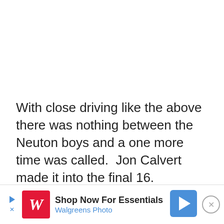With close driving like the above there was nothing between the Neuton boys and a one more time was called.  Jon Calvert made it into the final 16.
[Figure (other): Walgreens advertisement banner: 'Shop Now For Essentials' with Walgreens Photo logo and navigation arrow icon, plus a close button.]